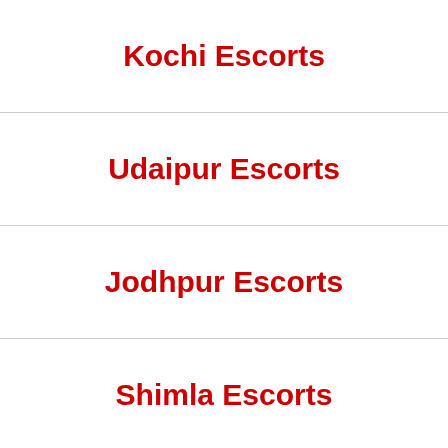Kochi Escorts
Udaipur Escorts
Jodhpur Escorts
Shimla Escorts